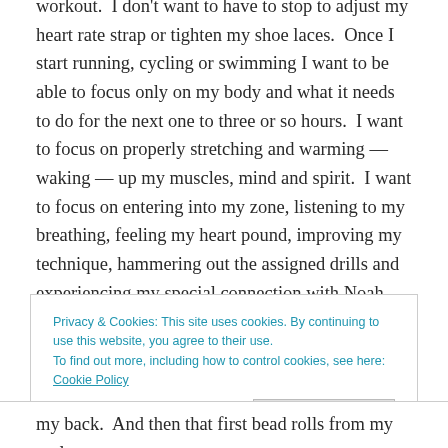workout.  I don't want to have to stop to adjust my heart rate strap or tighten my shoe laces.  Once I start running, cycling or swimming I want to be able to focus only on my body and what it needs to do for the next one to three or so hours.  I want to focus on properly stretching and warming — waking — up my muscles, mind and spirit.  I want to focus on entering into my zone, listening to my breathing, feeling my heart pound, improving my technique, hammering out the assigned drills and experiencing my special connection with Noah.
Privacy & Cookies: This site uses cookies. By continuing to use this website, you agree to their use.
To find out more, including how to control cookies, see here: Cookie Policy
Close and accept
my back.  And then that first bead rolls from my scalp